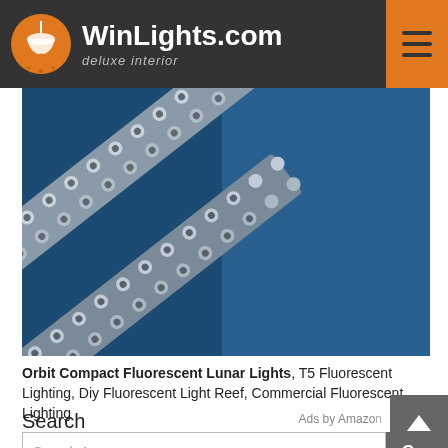WinLights.com deluxe interior
[Figure (photo): Close-up photo of LED lighting strips with small circular LEDs arranged in rows, photographed diagonally against a blue background]
Orbit Compact Fluorescent Lunar Lights, T5 Fluorescent Lighting, Diy Fluorescent Light Reef, Commercial Fluorescent Lighting
Search
Ads by Amazon